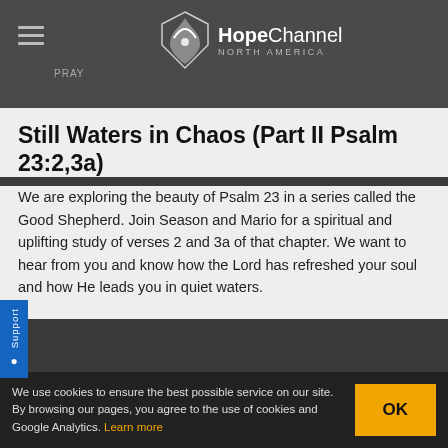[Figure (logo): Hope Channel North America logo with bird/wing icon]
Still Waters in Chaos (Part II Psalm 23:2,3a)
We are exploring the beauty of Psalm 23 in a series called the Good Shepherd. Join Season and Mario for a spiritual and uplifting study of verses 2 and 3a of that chapter. We want to hear from you and know how the Lord has refreshed your soul and how He leads you in quiet waters.
‹ Previous  1  2  3  4  10  Next ›
We use cookies to ensure the best possible service on our site. By browsing our pages, you agree to the use of cookies and Google Analytics. Learn more